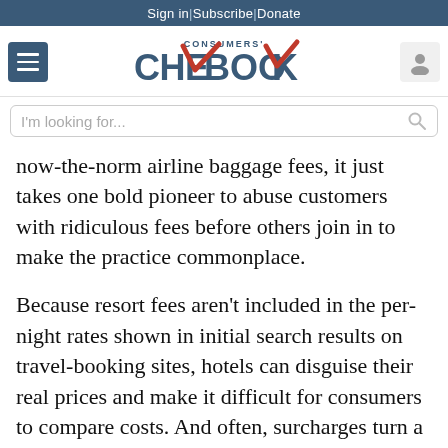Sign in | Subscribe | Donate
[Figure (logo): Consumers' Checkbook logo with checkmark]
I'm looking for...
now-the-norm airline baggage fees, it just takes one bold pioneer to abuse customers with ridiculous fees before others join in to make the practice commonplace.
Because resort fees aren't included in the per-night rates shown in initial search results on travel-booking sites, hotels can disguise their real prices and make it difficult for consumers to compare costs. And often, surcharges turn a seemingly good deal into a bad one. For example, when we sorted search results by price, the nightly rate